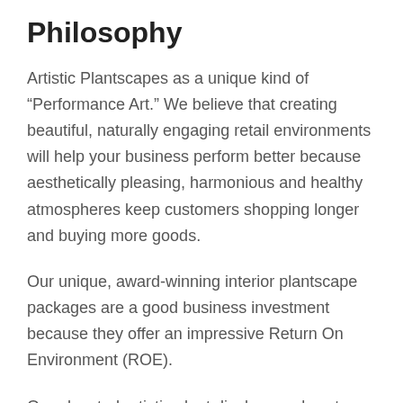Philosophy
Artistic Plantscapes as a unique kind of “Performance Art.” We believe that creating beautiful, naturally engaging retail environments will help your business perform better because aesthetically pleasing, harmonious and healthy atmospheres keep customers shopping longer and buying more goods.
Our unique, award-winning interior plantscape packages are a good business investment because they offer an impressive Return On Environment (ROE).
Our elevated artistic plant displays and custom planters and fine art compliment the surrounding store merchandise, adding tints, tones color and texture to